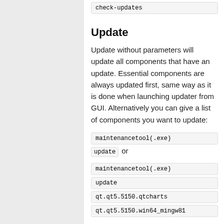check-updates
Update
Update without parameters will update all components that have an update. Essential components are always updated first, same way as it is done when launching updater from GUI. Alternatively you can give a list of components you want to update:
maintenancetool(.exe) update or
maintenancetool(.exe) update qt.qt5.5150.qtcharts qt.qt5.5150.win64_mingw81